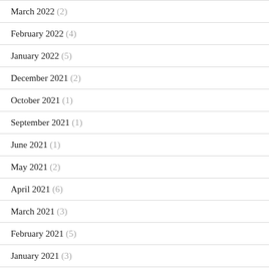March 2022 (2)
February 2022 (4)
January 2022 (5)
December 2021 (2)
October 2021 (1)
September 2021 (1)
June 2021 (1)
May 2021 (2)
April 2021 (6)
March 2021 (3)
February 2021 (5)
January 2021 (3)
December 2020 (5)